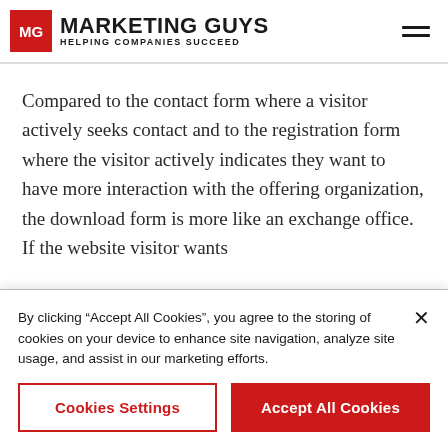MG MARKETING GUYS HELPING COMPANIES SUCCEED
Compared to the contact form where a visitor actively seeks contact and to the registration form where the visitor actively indicates they want to have more interaction with the offering organization, the download form is more like an exchange office. If the website visitor wants
By clicking “Accept All Cookies”, you agree to the storing of cookies on your device to enhance site navigation, analyze site usage, and assist in our marketing efforts.
Cookies Settings
Accept All Cookies